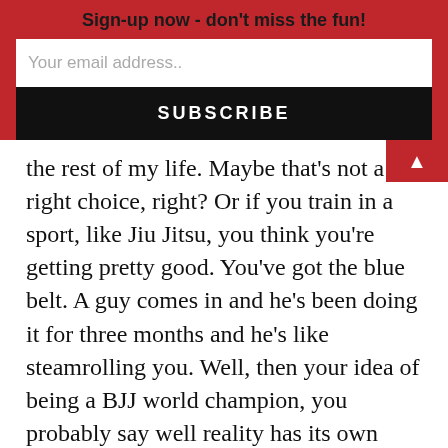Sign-up now - don't miss the fun!
the rest of my life. Maybe that's not a right choice, right? Or if you train in a sport, like Jiu Jitsu, you think you're getting pretty good. You've got the blue belt. A guy comes in and he's been doing it for three months and he's like steamrolling you. Well, then your idea of being a BJJ world champion, you probably say well reality has its own vision for you.
That's what I mean. Life, as Mark Twain said, it's not dance. It's more of a wrestling match. I